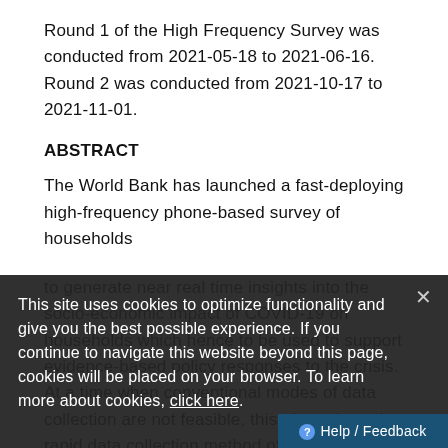Round 1 of the High Frequency Survey was conducted from 2021-05-18 to 2021-06-16. Round 2 was conducted from 2021-10-17 to 2021-11-01.
ABSTRACT
The World Bank has launched a fast-deploying high-frequency phone-based survey of households to generate near real time insights into the socio-economic impact of COVID-19 on households which hence to be used to support evidence-based policy responses to the crisis. At a time when conventional modes of data collection are not feasible, this phone-based rapid data collection method offers a way to gather granular information on the transmission mechanisms of the crisis.
This site uses cookies to optimize functionality and give you the best possible experience. If you continue to navigate this website beyond this page, cookies will be placed on your browser. To learn more about cookies, click here.